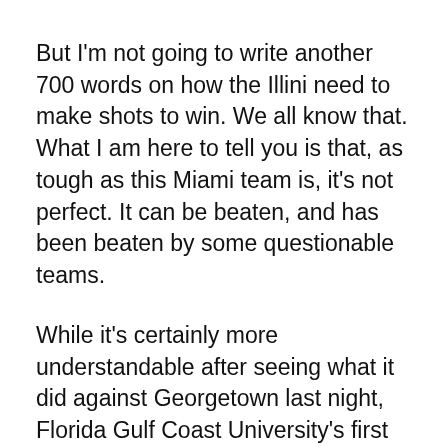But I'm not going to write another 700 words on how the Illini need to make shots to win. We all know that. What I am here to tell you is that, as tough as this Miami team is, it's not perfect. It can be beaten, and has been beaten by some questionable teams.
While it's certainly more understandable after seeing what it did against Georgetown last night, Florida Gulf Coast University's first upset of this season was of Miami in November. And that wasn't some fluke either, as FGCU won by 12 points.
Miami has also lost to teams like Indiana State, Wake Forest and Georgia Tech. The Canes finished the regular season losing three of their last five games before getting their shit together in the ACC.